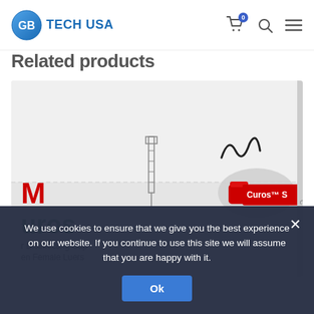GB TECH USA
Related products
[Figure (photo): Product photo of 3M Curos disinfecting cap for female luers, showing a gloved hand holding the red cap near a needle-free connector, with the product box visible showing 'Curos Disinfecting Cap for Needle Free Female Luers']
We use cookies to ensure that we give you the best experience on our website. If you continue to use this site we will assume that you are happy with it.